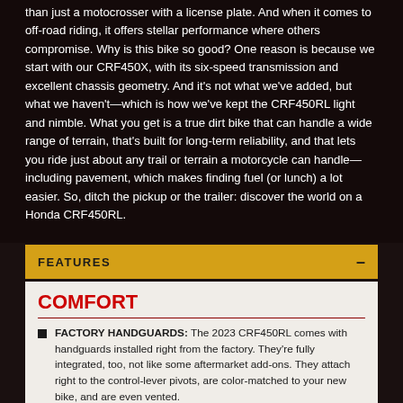than just a motocrosser with a license plate. And when it comes to off-road riding, it offers stellar performance where others compromise. Why is this bike so good? One reason is because we start with our CRF450X, with its six-speed transmission and excellent chassis geometry. And it's not what we've added, but what we haven't—which is how we've kept the CRF450RL light and nimble. What you get is a true dirt bike that can handle a wide range of terrain, that's built for long-term reliability, and that lets you ride just about any trail or terrain a motorcycle can handle—including pavement, which makes finding fuel (or lunch) a lot easier. So, ditch the pickup or the trailer: discover the world on a Honda CRF450RL.
FEATURES
COMFORT
FACTORY HANDGUARDS: The 2023 CRF450RL comes with handguards installed right from the factory. They're fully integrated, too, not like some aftermarket add-ons. They attach right to the control-lever pivots, are color-matched to your new bike, and are even vented.
BLACK DID RIMS: They may not help you go faster, but the sweet